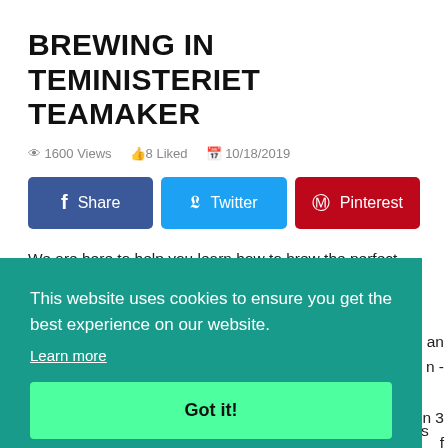BREWING IN TEMINISTERIET TEAMAKER
1600 Views  8 Liked  10/18/2019
[Figure (infographic): Three social sharing buttons: Facebook Share (blue), Twitter (light blue), Pinterest (red)]
We are here to help you learn how to brew the perfect cup of tea in our 'Teministeriet Teamaker'! We are going ... an ... n -
This website uses cookies to ensure you get the best experience on our website.
Learn more
Got it!
... in 3 ... f
safe, as we want to make enjoying a cup of tea as easy as